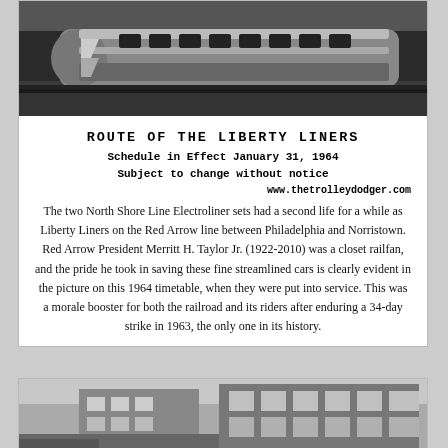[Figure (photo): Black and white photo of a streamlined Liberty Liner / Electroliner train car, viewed from the side/front angle, on tracks.]
ROUTE OF THE LIBERTY LINERS
Schedule in Effect January 31, 1964
Subject to change without notice
www.thetrolleydodger.com
The two North Shore Line Electroliner sets had a second life for a while as Liberty Liners on the Red Arrow line between Philadelphia and Norristown. Red Arrow President Merritt H. Taylor Jr. (1922-2010) was a closet railfan, and the pride he took in saving these fine streamlined cars is clearly evident in the picture on this 1964 timetable, when they were put into service. This was a morale booster for both the railroad and its riders after enduring a 34-day strike in 1963, the only one in its history.
[Figure (photo): Black and white photo of a building exterior, partially visible, appears to be a transit station or modern structure.]